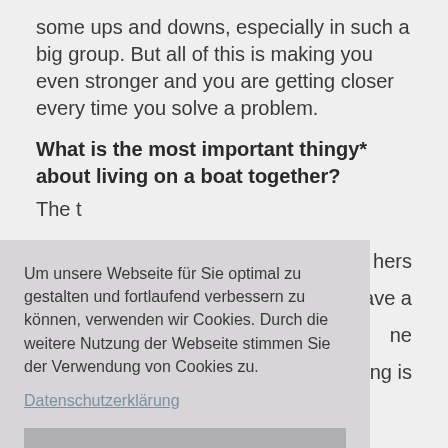some ups and downs, especially in such a big group. But all of this is making you even stronger and you are getting closer every time you solve a problem.
What is the most important thingy* about living on a boat together?
[partially obscured] ...others ...ave a ...ne ...ng is
Um unsere Webseite für Sie optimal zu gestalten und fortlaufend verbessern zu können, verwenden wir Cookies. Durch die weitere Nutzung der Webseite stimmen Sie der Verwendung von Cookies zu. Datenschutzerklärung [Akzeptieren button]
...y to ...Ohh ...onths and then we are all laughing.